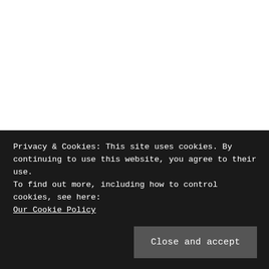Privacy & Cookies: This site uses cookies. By continuing to use this website, you agree to their use.
To find out more, including how to control cookies, see here:
Our Cookie Policy